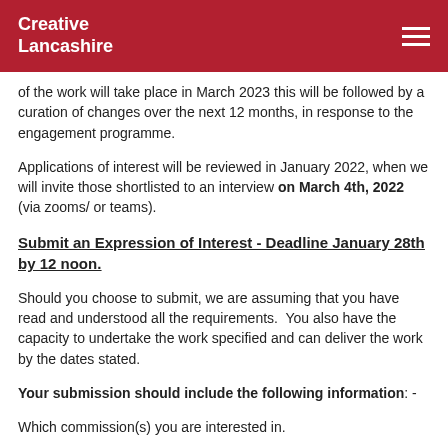Creative Lancashire
of the work will take place in March 2023 this will be followed by a curation of changes over the next 12 months, in response to the engagement programme.
Applications of interest will be reviewed in January 2022, when we will invite those shortlisted to an interview on March 4th, 2022 (via zooms/ or teams).
Submit an Expression of Interest - Deadline January 28th by 12 noon.
Should you choose to submit, we are assuming that you have read and understood all the requirements.  You also have the capacity to undertake the work specified and can deliver the work by the dates stated.
Your submission should include the following information: -
Which commission(s) you are interested in.